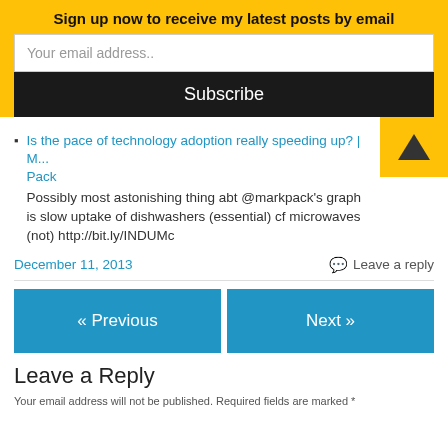Sign up now to receive my latest posts by email
Your email address..
Subscribe
Is the pace of technology adoption really speeding up? | M... Pack
Possibly most astonishing thing abt @markpack's graph is slow uptake of dishwashers (essential) cf microwaves (not) http://bit.ly/INDUMc
December 11, 2013
Leave a reply
« Previous
Next »
Leave a Reply
Your email address will not be published. Required fields are marked *